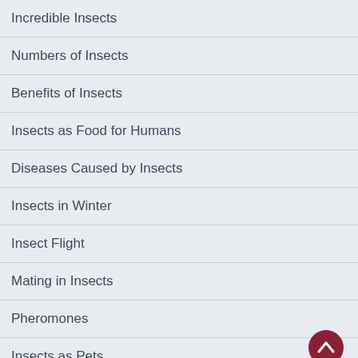Incredible Insects
Numbers of Insects
Benefits of Insects
Insects as Food for Humans
Diseases Caused by Insects
Insects in Winter
Insect Flight
Mating in Insects
Pheromones
Insects as Pets